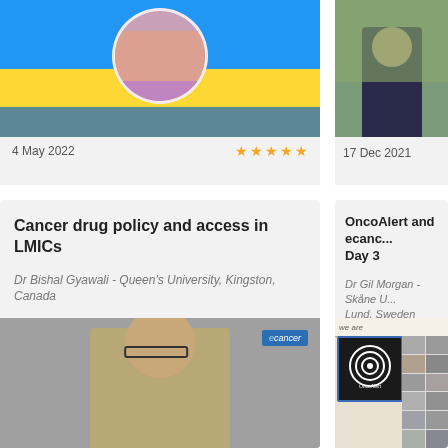[Figure (photo): Video thumbnail showing a man in a purple shirt with Ukrainian flag background, blue overlay]
4 May 2022 ★★★★★
[Figure (photo): Video thumbnail showing a man in a dark suit outdoors]
17 Dec 2021
Cancer drug policy and access in LMICs
Dr Bishal Gyawali - Queen's University, Kingston, Canada
OncoAlert and ecanc... Day 3
Dr Gil Morgan - Skåne U... Lund, Sweden
[Figure (photo): Video thumbnail showing Dr Bishal Gyawali, a man with glasses and short hair, with ecancer logo badge]
[Figure (photo): Video thumbnail showing OncoAlert logo with concentric circles and grid of participant photos]